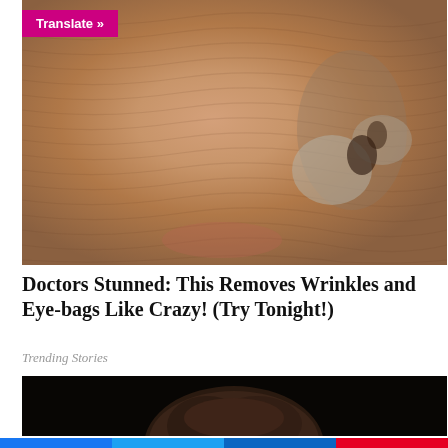[Figure (photo): Close-up of a person's face covered with a clay or mud face mask showing ridged texture with orange and gray tones]
Translate »
Doctors Stunned: This Removes Wrinkles and Eye-bags Like Crazy! (Try Tonight!)
Trending Stories
[Figure (photo): Close-up of a person's dark hair and forehead against a black background]
Facebook share button, Twitter share button, LinkedIn share button, Pinterest share button